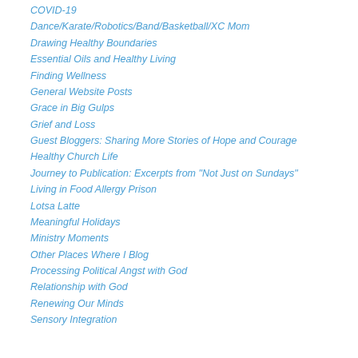COVID-19
Dance/Karate/Robotics/Band/Basketball/XC Mom
Drawing Healthy Boundaries
Essential Oils and Healthy Living
Finding Wellness
General Website Posts
Grace in Big Gulps
Grief and Loss
Guest Bloggers: Sharing More Stories of Hope and Courage
Healthy Church Life
Journey to Publication: Excerpts from "Not Just on Sundays"
Living in Food Allergy Prison
Lotsa Latte
Meaningful Holidays
Ministry Moments
Other Places Where I Blog
Processing Political Angst with God
Relationship with God
Renewing Our Minds
Sensory Integration